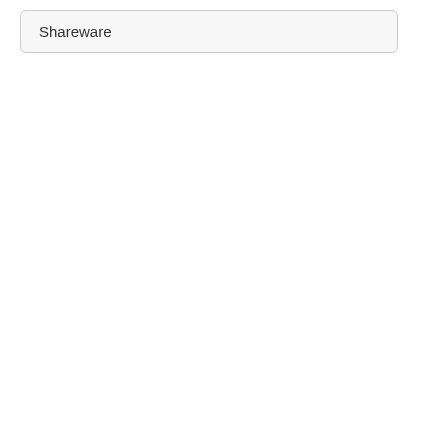Shareware
moisturize and p smooth the skin.
583.0 KB |Sharewa
» details
» Lotions 1.
Body Lotion com make the skin so airborne bact
583.0 KB |Sharewa
» details
Last sharew
» MicroWor
MicroWorld Tech machine is infec could have done
3.59 MB |Windows
» details
» Repellent
Repellent can so applets and scrip